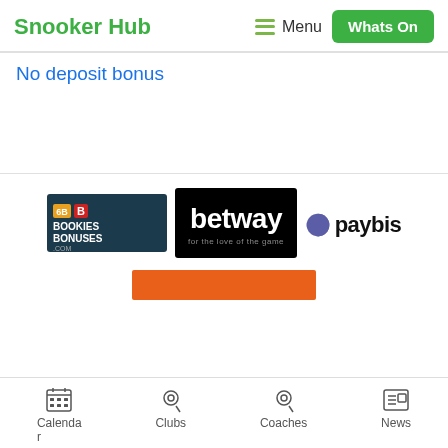Snooker Hub — Menu | Whats On
No deposit bonus
[Figure (logo): BookiesBonuses.com logo — dark teal background with orange badge, red B icon, white text]
[Figure (logo): Betway logo — black background, white betway text, tagline: for the love of the game]
[Figure (logo): Paybis logo — purple half-circle icon and bold black paybis text]
[Figure (other): Orange/burnt-orange banner rectangle]
Calendar  Clubs  Coaches  News